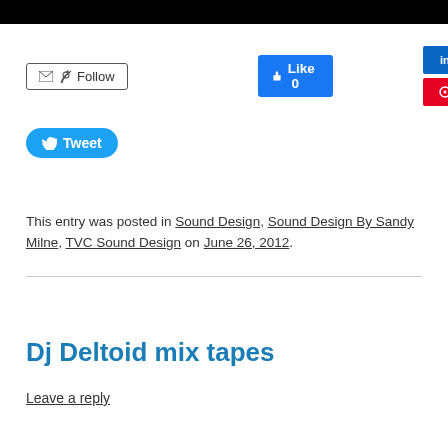[Figure (screenshot): Black bar at top of page]
[Figure (screenshot): Social sharing buttons: Follow (email/RSS), Like 0 (Facebook), Share (LinkedIn), Save (Pinterest), Tweet (Twitter)]
This entry was posted in Sound Design, Sound Design By Sandy Milne, TVC Sound Design on June 26, 2012.
Dj Deltoid mix tapes
Leave a reply